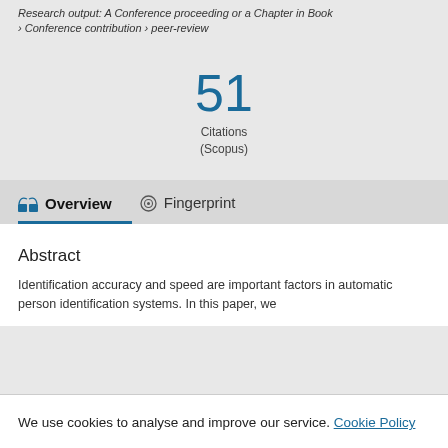Research output: A Conference proceeding or a Chapter in Book › Conference contribution › peer-review
51 Citations (Scopus)
Overview   Fingerprint
Abstract
Identification accuracy and speed are important factors in automatic person identification systems. In this paper, we
We use cookies to analyse and improve our service. Cookie Policy